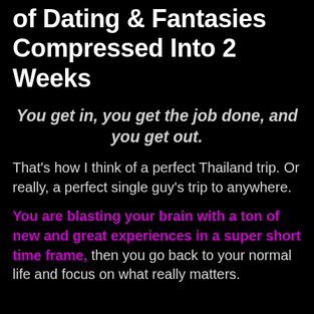of Dating & Fantasies Compressed Into 2 Weeks
You get in, you get the job done, and you get out.
That's how I think of a perfect Thailand trip. Or really, a perfect single guy's trip to anywhere.
You are blasting your brain with a ton of new and great experiences in a super short time frame, then you go back to your normal life and focus on what really matters.